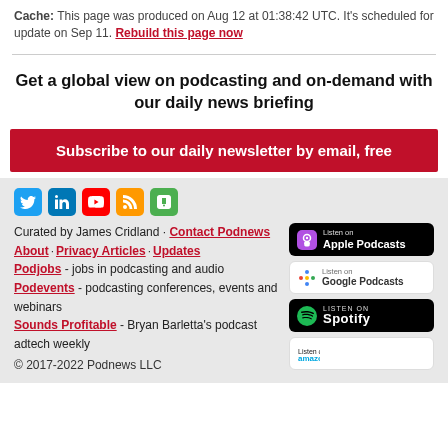Cache: This page was produced on Aug 12 at 01:38:42 UTC. It's scheduled for update on Sep 11. Rebuild this page now
Get a global view on podcasting and on-demand with our daily news briefing
Subscribe to our daily newsletter by email, free
Curated by James Cridland · Contact Podnews
About · Privacy Articles · Updates
Podjobs - jobs in podcasting and audio
Podevents - podcasting conferences, events and webinars
Sounds Profitable - Bryan Barletta's podcast adtech weekly
© 2017-2022 Podnews LLC